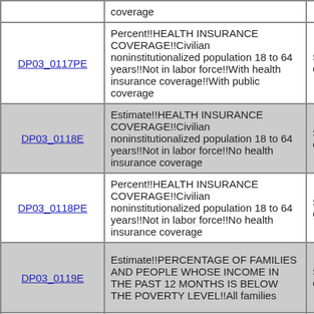| DP03_0117PE | Percent!!HEALTH INSURANCE COVERAGE!!Civilian noninstitutionalized population 18 to 64 years!!Not in labor force!!With health insurance coverage!!With public coverage | SELECT CHAR… |
| DP03_0118E | Estimate!!HEALTH INSURANCE COVERAGE!!Civilian noninstitutionalized population 18 to 64 years!!Not in labor force!!No health insurance coverage | SELECT CHAR… |
| DP03_0118PE | Percent!!HEALTH INSURANCE COVERAGE!!Civilian noninstitutionalized population 18 to 64 years!!Not in labor force!!No health insurance coverage | SELECT CHAR… |
| DP03_0119E | Estimate!!PERCENTAGE OF FAMILIES AND PEOPLE WHOSE INCOME IN THE PAST 12 MONTHS IS BELOW THE POVERTY LEVEL!!All families | SELECT CHAR… |
|  | Percent!!PERCENTAGE OF FAMILIES AND PEOPLE WHOSE… |  |